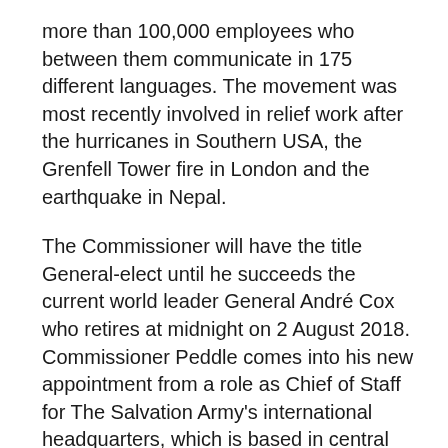more than 100,000 employees who between them communicate in 175 different languages. The movement was most recently involved in relief work after the hurricanes in Southern USA, the Grenfell Tower fire in London and the earthquake in Nepal.
The Commissioner will have the title General-elect until he succeeds the current world leader General André Cox who retires at midnight on 2 August 2018. Commissioner Peddle comes into his new appointment from a role as Chief of Staff for The Salvation Army's international headquarters, which is based in central London. In 2009 Commissioner Peddle held the role as Chief Secretary in the UK and Ireland, and moved on to lead as the Territorial Commander in Canada and Bermuda in 2011.